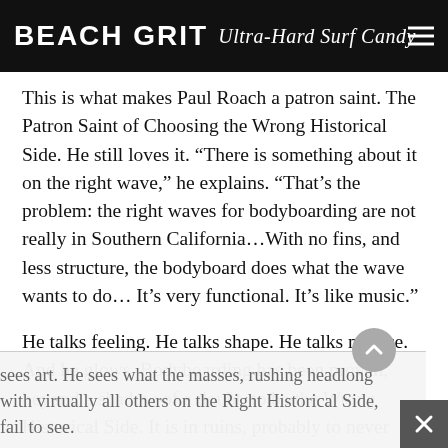BEACH GRIT Ultra-Hard Surf Candy
This is what makes Paul Roach a patron saint. The Patron Saint of Choosing the Wrong Historical Side. He still loves it. “There is something about it on the right wave,” he explains. “That’s the problem: the right waves for bodyboarding are not really in Southern California…With no fins, and less structure, the bodyboard does what the wave wants to do… It’s very functional. It’s like music.”
He talks feeling. He talks shape. He talks nuance. And he glows. Bodyboarding has been proven, beyond a shadow of a doubt, to be the Wrong Historical Side. It is in ruins, probably to never return. But Paul Roach sees the beauty. He sees art. He sees what the masses, rushing headlong with virtually all others on the Right Historical Side, fail to see.